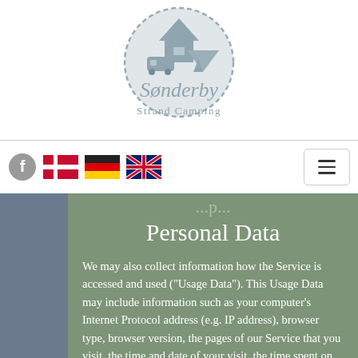[Figure (logo): Sønderby Strand Camping logo — circular grey emblem with house, caravan, and tent icons above the cursive text 'Sønderby' and 'Strand Camping']
[Figure (infographic): Navigation bar with Facebook icon, Danish flag, German flag, and UK flag on the left; hamburger menu button on the right]
...p...
Personal Data
We may also collect information how the Service is accessed and used ("Usage Data"). This Usage Data may include information such as your computer's Internet Protocol address (e.g. IP address), browser type, browser version, the pages of our Service that you visit, the time and date of your visit, the time spent on those